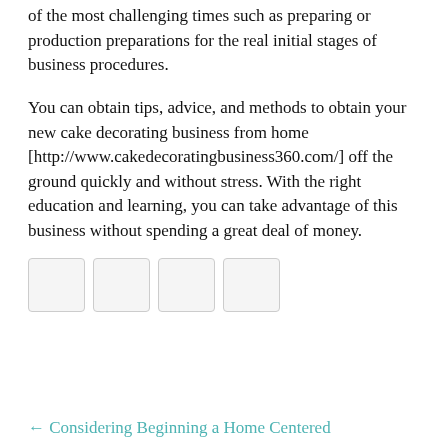of the most challenging times such as preparing or production preparations for the real initial stages of business procedures.
You can obtain tips, advice, and methods to obtain your new cake decorating business from home [http://www.cakedecoratingbusiness360.com/] off the ground quickly and without stress. With the right education and learning, you can take advantage of this business without spending a great deal of money.
[Figure (other): Four small social sharing icon boxes in a row, light gray with border outlines]
← Considering Beginning a Home Centered